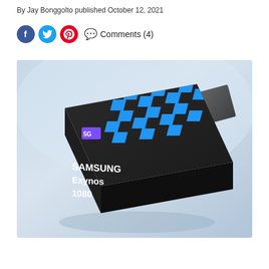By Jay Bonggolto published October 12, 2021
[Figure (other): Social media share icons: Facebook (blue circle), Twitter (light blue circle), Pinterest (red circle), and a comment bubble with text 'Comments (4)']
[Figure (photo): Samsung Exynos 1080 chip product photo — dark square chip with blue checkerboard pattern logo and '5G' badge on top face, 'SAMSUNG Exynos 1080' text in white on front face, floating against a light blue/grey gradient background, with a thin dark rectangular piece floating to the upper right]